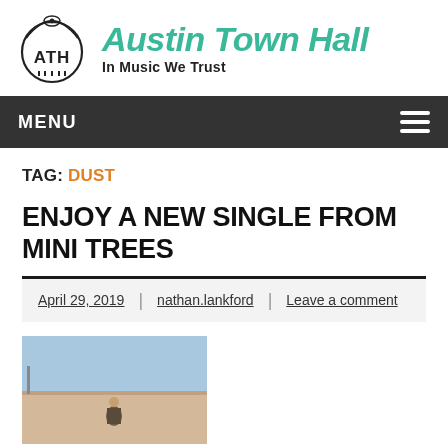Austin Town Hall — In Music We Trust
MENU
TAG: DUST
ENJOY A NEW SINGLE FROM MINI TREES
April 29, 2019 | nathan.lankford | Leave a comment
[Figure (photo): Outdoor photo of a person standing near a building wall under a blue sky, partially visible at bottom of page.]